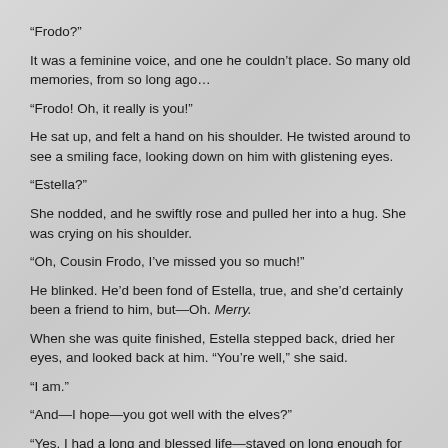“Frodo?”
It was a feminine voice, and one he couldn’t place. So many old memories, from so long ago…
“Frodo! Oh, it really is you!”
He sat up, and felt a hand on his shoulder. He twisted around to see a smiling face, looking down on him with glistening eyes.
“Estella?”
She nodded, and he swiftly rose and pulled her into a hug. She was crying on his shoulder.
“Oh, Cousin Frodo, I’ve missed you so much!”
He blinked. He’d been fond of Estella, true, and she’d certainly been a friend to him, but—Oh. Merry.
When she was quite finished, Estella stepped back, dried her eyes, and looked back at him. “You’re well,” she said.
“I am.”
“And—I hope—you got well with the elves?”
“Yes. I had a long and blessed life—stayed on long enough for Sam to see I was well, and then we both passed on, quiet as you please, and here we are!”